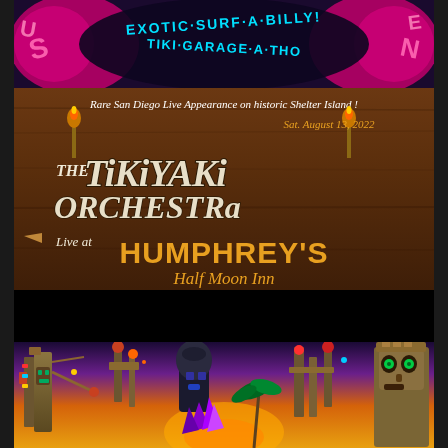[Figure (illustration): Concert poster for The Tikiyaki Orchestra at Humphrey's Half Moon Inn. Top section shows colorful psychedelic text reading 'Exotic Surf-A-Billy Tiki Garage-A-Thon' on dark background with pink and cyan lettering. Middle section on wood-grain brown background shows: 'Rare San Diego Live Appearance on historic Shelter Island!' in white italic text, date 'Sat. August 13, 2022' in orange, large stylized 'THE TiKiYAKi ORCHESTRa' logo in distressed white/cream lettering, 'Live at HUMPHREY'S Half Moon Inn' in white and orange text. Bottom section shows a black bar followed by colorful tiki-themed fantasy illustration with tiki statues, fantastical structures, purple crystals, and vibrant sunset sky.]